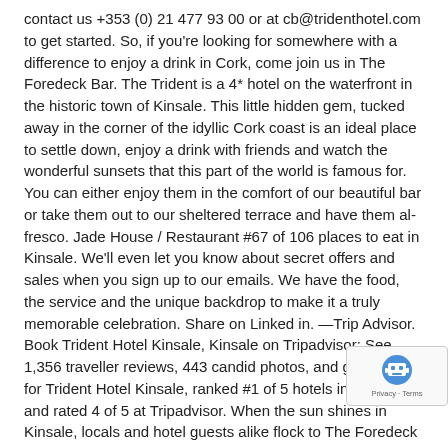contact us +353 (0) 21 477 93 00 or at cb@tridenthotel.com to get started. So, if you're looking for somewhere with a difference to enjoy a drink in Cork, come join us in The Foredeck Bar. The Trident is a 4* hotel on the waterfront in the historic town of Kinsale. This little hidden gem, tucked away in the corner of the idyllic Cork coast is an ideal place to settle down, enjoy a drink with friends and watch the wonderful sunsets that this part of the world is famous for. You can either enjoy them in the comfort of our beautiful bar or take them out to our sheltered terrace and have them al-fresco. Jade House / Restaurant #67 of 106 places to eat in Kinsale. We'll even let you know about secret offers and sales when you sign up to our emails. We have the food, the service and the unique backdrop to make it a truly memorable celebration. Share on Linked in. —Trip Advisor. Book Trident Hotel Kinsale, Kinsale on Tripadvisor: See 1,356 traveller reviews, 443 candid photos, and great deals for Trident Hotel Kinsale, ranked #1 of 5 hotels in Kinsale and rated 4 of 5 at Tripadvisor. When the sun shines in Kinsale, locals and hotel guests alike flock to The Foredeck Bar. Kinsale is one of Ireland's most picturesque towns; it is steeped in history and has a charming old world atmosphere. Pier One Restaurant. Trident Hotel Kinsale, Kinsale, Ireland. #1 of 5 hotels in Kinsale - The Trident Hotel offers luxury accommodation, dining, weddings, meetings and e... Business guests enjoy the free breakfast. Trident Hotel Kinsale Spectacularly located on the waterfront in the historic town of Kin...
[Figure (other): Google reCAPTCHA badge with robot icon and Privacy - Terms text]